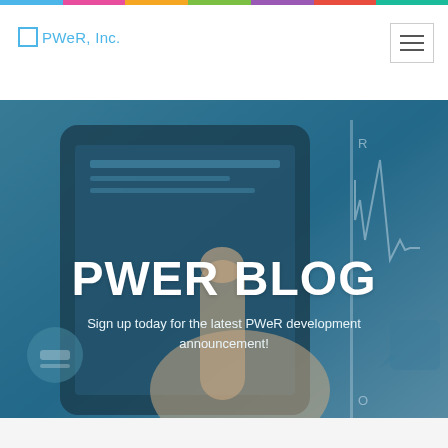PWeR, Inc.
[Figure (screenshot): Hero banner image showing a hand touching a tablet device with a teal/blue color overlay. Large white bold text reads 'PWER BLOG' with subtitle 'Sign up today for the latest PWeR development announcement!']
PWER BLOG
Sign up today for the latest PWeR development announcement!